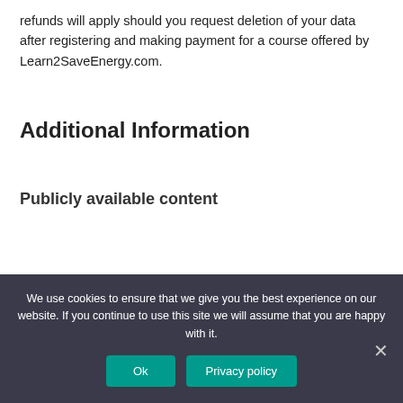refunds will apply should you request deletion of your data after registering and making payment for a course offered by Learn2SaveEnergy.com.
Additional Information
Publicly available content
We use cookies to ensure that we give you the best experience on our website. If you continue to use this site we will assume that you are happy with it.
Ok
Privacy policy